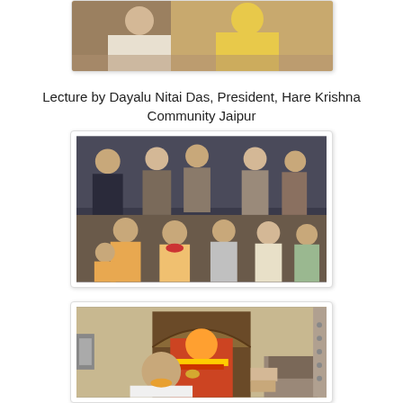[Figure (photo): Top partial photo showing a person in yellow garments, partially visible, being touched or blessed by another person]
Lecture by Dayalu Nitai Das, President, Hare Krishna Community Jaipur
[Figure (photo): Group of devotees seated and standing in a temple or hall setting; several shaved-head men in saffron and white robes seated in front, others standing behind]
[Figure (photo): Close-up of a deity shrine with ornate carved wooden arch; a bald-headed devotee performs worship/arati at a colorfully decorated deity figure]